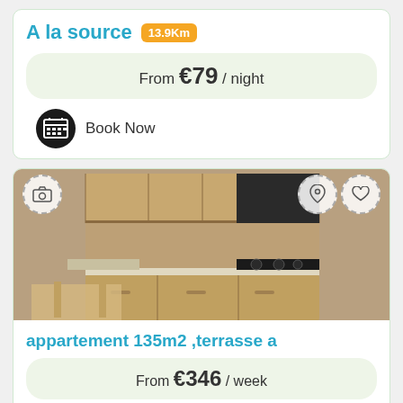A la source 13.9Km
From €79 / night
Book Now
[Figure (photo): Kitchen photo showing wooden cabinets, countertops, gas stove, and dining table]
appartement 135m2 ,terrasse a
From €346 / week
Book Now